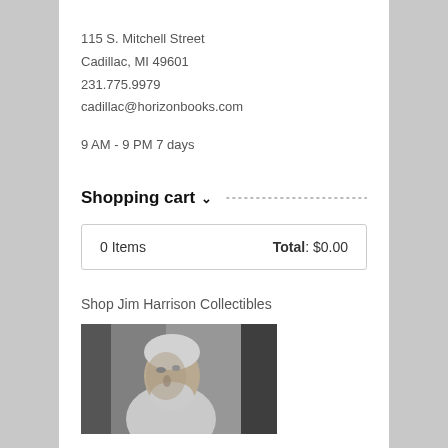115 S. Mitchell Street
Cadillac, MI 49601
231.775.9979
cadillac@horizonbooks.com
9 AM - 9 PM 7 days
Shopping cart
| 0 Items | Total: $0.00 |
Shop Jim Harrison Collectibles
[Figure (photo): Black and white portrait photo of a man with white hair and beard, partially visible]